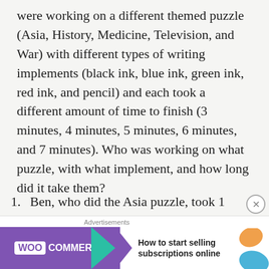were working on a different themed puzzle (Asia, History, Medicine, Television, and War) with different types of writing implements (black ink, blue ink, green ink, red ink, and pencil) and each took a different amount of time to finish (3 minutes, 4 minutes, 5 minutes, 6 minutes, and 7 minutes). Who was working on what puzzle, with what implement, and how long did it take them?
Ben, who did the Asia puzzle, took 1 minute longer than Margaret, but 1 minute less than the person who did the History puzzle.
Kellye took longer than the person who…
[Figure (other): WooCommerce advertisement banner: 'How to start selling subscriptions online']